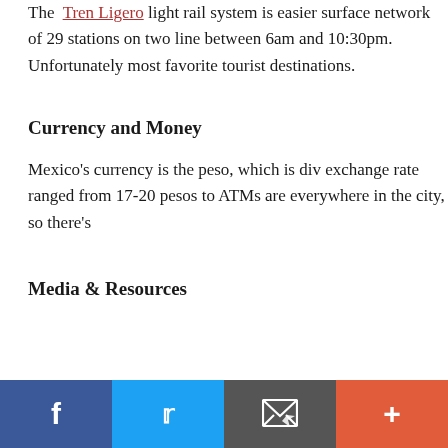The Tren Ligero light rail system is easier surface network of 29 stations on two lines between 6am and 10:30pm. Unfortunately most favorite tourist destinations.
Currency and Money
Mexico's currency is the peso, which is divided exchange rate ranged from 17-20 pesos to ATMs are everywhere in the city, so there's
Media & Resources